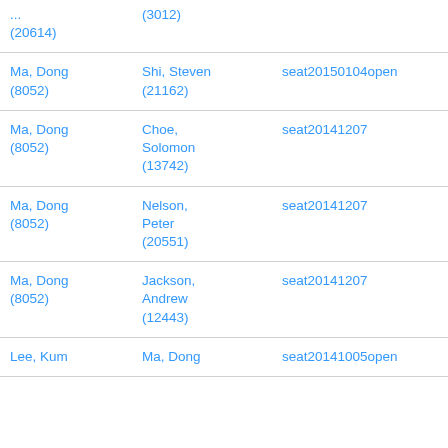| ...(20614) | (3012) |  |
| Ma, Dong (8052) | Shi, Steven (21162) | seat20150104open |
| Ma, Dong (8052) | Choe, Solomon (13742) | seat20141207 |
| Ma, Dong (8052) | Nelson, Peter (20551) | seat20141207 |
| Ma, Dong (8052) | Jackson, Andrew (12443) | seat20141207 |
| Lee, Kum | Ma, Dong | seat20141005open |